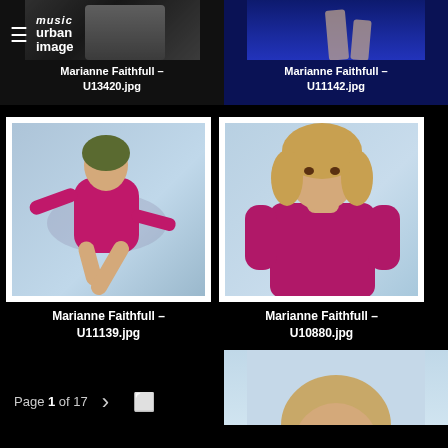[Figure (photo): Partial photo of Marianne Faithfull with Urban Image music logo overlay, black and white, cropped at top]
Marianne Faithfull - U13420.jpg
[Figure (photo): Partial photo of Marianne Faithfull legs against blue background, cropped at top]
Marianne Faithfull - U11142.jpg
[Figure (photo): Marianne Faithfull in pink/magenta dress on light blue background, jumping or kneeling pose, white border]
Marianne Faithfull - U11139.jpg
[Figure (photo): Marianne Faithfull in magenta long-sleeve top, portrait, light blue background, white border]
Marianne Faithfull - U10880.jpg
Page 1 of 17
[Figure (photo): Partial photo of Marianne Faithfull portrait, light background, cropped at bottom]